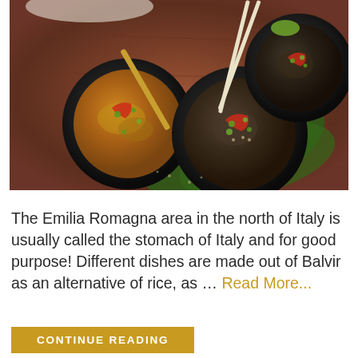[Figure (photo): Overhead photo of Asian food bowls with chopsticks on a wooden table. Three dark bowls containing stir-fried dishes with colorful garnishes of red peppers and green herbs, placed on a wooden surface with green leaves.]
The Emilia Romagna area in the north of Italy is usually called the stomach of Italy and for good purpose! Different dishes are made out of Balvir as an alternative of rice, as ... Read More...
CONTINUE READING